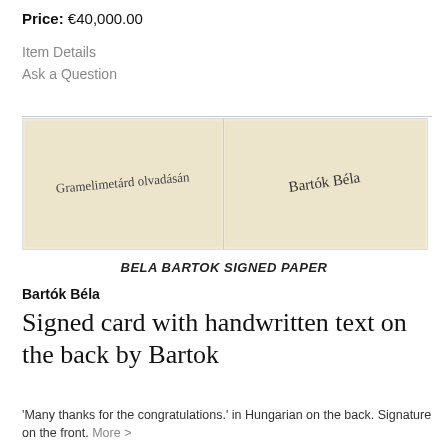Price: €40,000.00
Item Details
Ask a Question
[Figure (photo): Two side-by-side photographs of a handwritten card: left panel shows handwritten Hungarian text, right panel shows the signature 'Bartók Béla']
BELA BARTOK SIGNED PAPER
Bartók Béla
Signed card with handwritten text on the back by Bartok
'Many thanks for the congratulations.' in Hungarian on the back. Signature on the front. More >